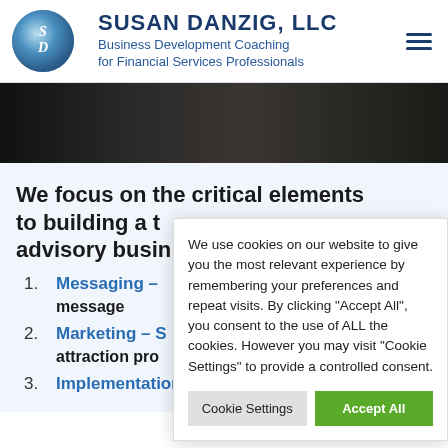[Figure (logo): Susan Danzig LLC logo — circular blue gradient with SD initials]
SUSAN DANZIG, LLC
Business Development Coaching for Financial Services Professionals
[Figure (photo): Dark photo strip showing business professionals in meeting]
We focus on the critical elements to building a thriving advisory business
Messaging – [partially hidden] message
Marketing – [partially hidden] attraction process
Implementation – Attain your goals
We use cookies on our website to give you the most relevant experience by remembering your preferences and repeat visits. By clicking "Accept All", you consent to the use of ALL the cookies. However you may visit "Cookie Settings" to provide a controlled consent.